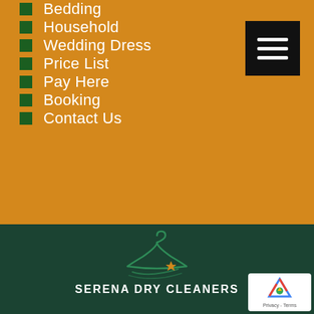Bedding
Household
Wedding Dress
Price List
Pay Here
Booking
Contact Us
[Figure (logo): Serena Dry Cleaners logo: green clothes hanger with a yellow star accent and swoosh lines]
SERENA DRY CLEANERS